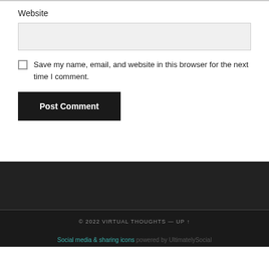Website
Save my name, email, and website in this browser for the next time I comment.
Post Comment
© 2022 VIRTUAL THOUGHTS — UP ↑
Social media & sharing icons powered by UltimatelySocial